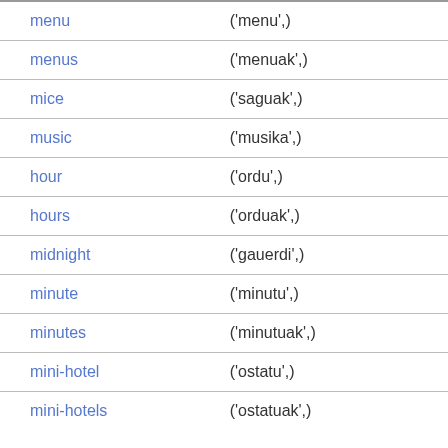| Term | Translation |
| --- | --- |
| menu | ('menu',) |
| menus | ('menuak',) |
| mice | ('saguak',) |
| music | ('musika',) |
| hour | ('ordu',) |
| hours | ('orduak',) |
| midnight | ('gauerdi',) |
| minute | ('minutu',) |
| minutes | ('minutuak',) |
| mini-hotel | ('ostatu',) |
| mini-hotels | ('ostatuak',) |